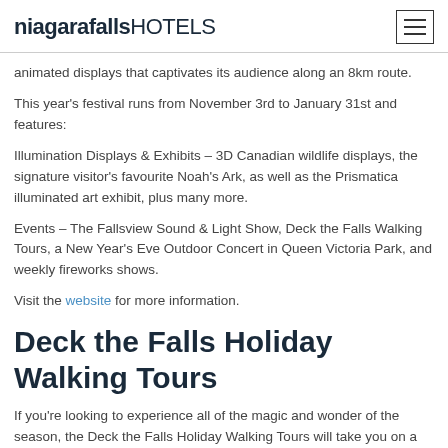niagarafallsHOTELS
animated displays that captivates its audience along an 8km route.
This year's festival runs from November 3rd to January 31st and features:
Illumination Displays & Exhibits – 3D Canadian wildlife displays, the signature visitor's favourite Noah's Ark, as well as the Prismatica illuminated art exhibit, plus many more.
Events – The Fallsview Sound & Light Show, Deck the Falls Walking Tours, a New Year's Eve Outdoor Concert in Queen Victoria Park, and weekly fireworks shows.
Visit the website for more information.
Deck the Falls Holiday Walking Tours
If you're looking to experience all of the magic and wonder of the season, the Deck the Falls Holiday Walking Tours will take you on a festive winter journey. These self-guided walking tours